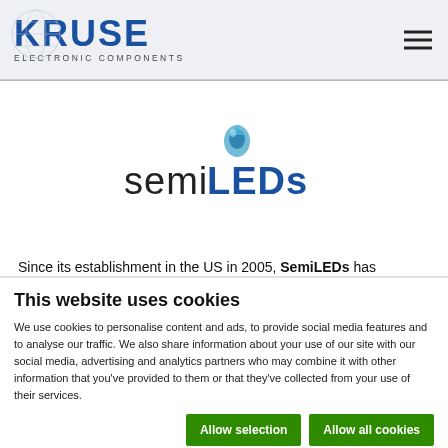KRUSE ELECTRONIC COMPONENTS
[Figure (logo): SemiLEDs company logo with stylized LED icon and 'SemiLEDs' wordmark in dark and blue tones]
Since its establishment in the US in 2005, SemiLEDs has
This website uses cookies
We use cookies to personalise content and ads, to provide social media features and to analyse our traffic. We also share information about your use of our site with our social media, advertising and analytics partners who may combine it with other information that you've provided to them or that they've collected from your use of their services.
Allow selection | Allow all cookies
Necessary | Preferences | Statistics | Marketing | Show details